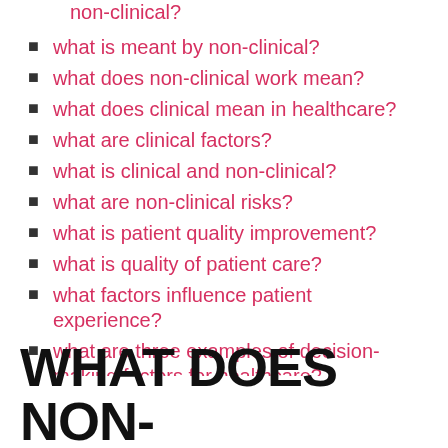non-clinical?
what is meant by non-clinical?
what does non-clinical work mean?
what does clinical mean in healthcare?
what are clinical factors?
what is clinical and non-clinical?
what are non-clinical risks?
what is patient quality improvement?
what is quality of patient care?
what factors influence patient experience?
what are three examples of decision-making factors for healthcare?
WHAT DOES NON-